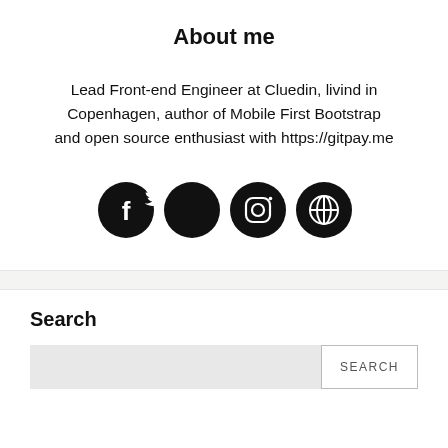About me
Lead Front-end Engineer at Cluedin, livind in Copenhagen, author of Mobile First Bootstrap and open source enthusiast with https://gitpay.me
[Figure (illustration): Four black circular social media icon buttons: Facebook (f), Twitter (bird), Instagram (camera), and a globe/web icon]
Search
Search input field with SEARCH button